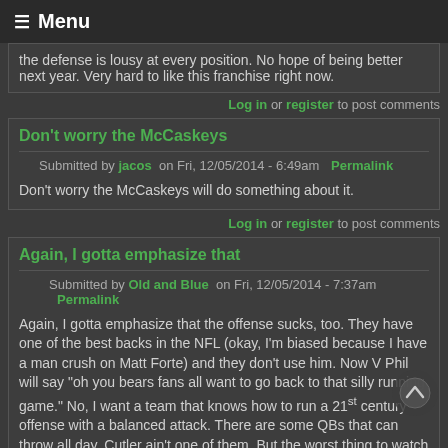≡ Menu
the defense is lousy at every position. No hope of being better next year. Very hard to like this franchise right now.
Log in or register to post comments
Don't worry the McCaskeys
Submitted by jacos on Fri, 12/05/2014 - 6:49am Permalink
Don't worry the McCaskeys will do something about it.
Log in or register to post comments
Again, I gotta emphasize that
Submitted by Old and Blue on Fri, 12/05/2014 - 7:37am Permalink
Again, I gotta emphasize that the offense sucks, too. They have one of the best backs in the NFL (okay, I'm biased because I have a man crush on Matt Forte) and they don't use him. Now V Phil will say "oh you bears fans all want to go back to that silly running game." No, I want a team that knows how to run a 21st century offense with a balanced attack. There are some QBs that can throw all day. Cutler ain't one of them. But the worst thing to watch is how inept they all seem out there. I don't know